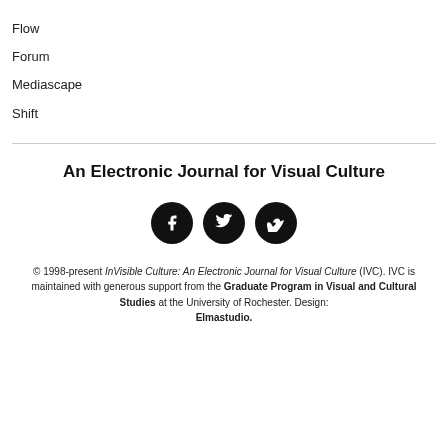Flow
Forum
Mediascape
Shift
An Electronic Journal for Visual Culture
[Figure (illustration): Three circular social media icons (Facebook, Twitter, Vimeo) in black with white symbols]
© 1998-present InVisible Culture: An Electronic Journal for Visual Culture (IVC). IVC is maintained with generous support from the Graduate Program in Visual and Cultural Studies at the University of Rochester. Design: Elmastudio.